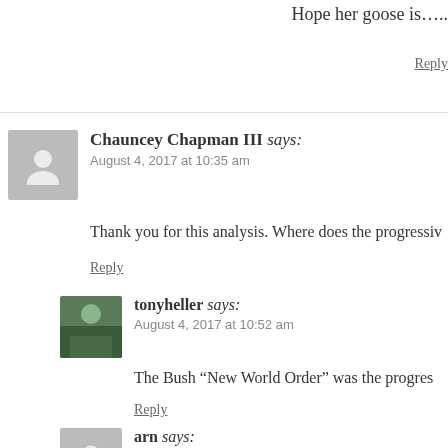Hope her goose is…..
Reply
Chauncey Chapman III says:
August 4, 2017 at 10:35 am
Thank you for this analysis. Where does the progressiv
Reply
tonyheller says:
August 4, 2017 at 10:52 am
The Bush “New World Order” was the progres
Reply
arn says:
August 4, 2017 at 12:01 pm